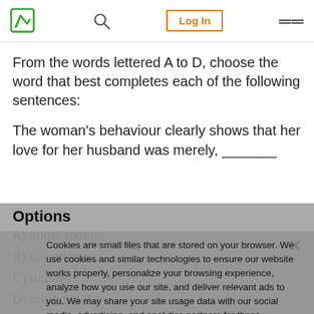Logo | Search | Log In | Menu
From the words lettered A to D, choose the word that best completes each of the following sentences:
The woman's behaviour clearly shows that her love for her husband was merely, _______
Options
A) superstitious
B) superlative
C) elusive
D) superficial
Cookies are small files that are stored on your browser. We use cookies and similar technologies to ensure our website works properly, personalize your browsing experience, analyze how you use our site, and deliver relevant ads to you. We may share your site usage data with our social media, advertising, and analytics partners for these reasons. In summary, we use cookies to ensure that we give you the best experience on our website. You can learn more about how we use cookies by visiting our privacy policy page.